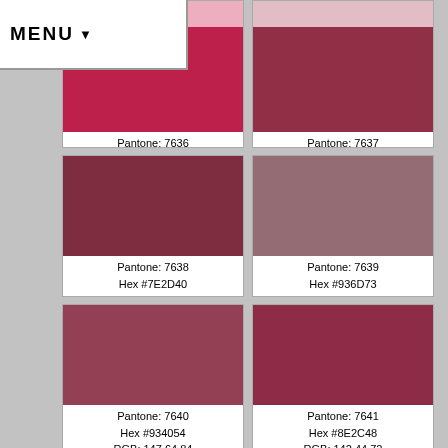[Figure (infographic): Color swatch catalog page showing Pantone colors 7636-7641 in a 2-column grid with color blocks and color code information]
MENU ▼
Pantone: 7636
Hex #BC204B
RGB: 188 32 75
CMYK: Nonel
Pantone: 7637
Hex #912F46
RGB: 145 47 70
CMYK: Nonel
Pantone: 7638
Hex #7E2D40
RGB: 126 45 64
CMYK: Nonel
Pantone: 7639
Hex #936D73
RGB: 147 109 115
CMYK: Nonel
Pantone: 7640
Hex #934054
RGB: 147 64 84
CMYK: Nonel
Pantone: 7641
Hex #8E2C48
RGB: 142 44 72
CMYK: Nonel